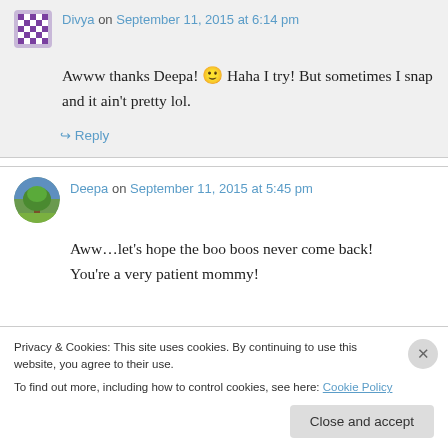Divya on September 11, 2015 at 6:14 pm
Awww thanks Deepa! 🙂 Haha I try! But sometimes I snap and it ain't pretty lol.
↪ Reply
Deepa on September 11, 2015 at 5:45 pm
Aww…let's hope the boo boos never come back! You're a very patient mommy!
Privacy & Cookies: This site uses cookies. By continuing to use this website, you agree to their use.
To find out more, including how to control cookies, see here: Cookie Policy
Close and accept